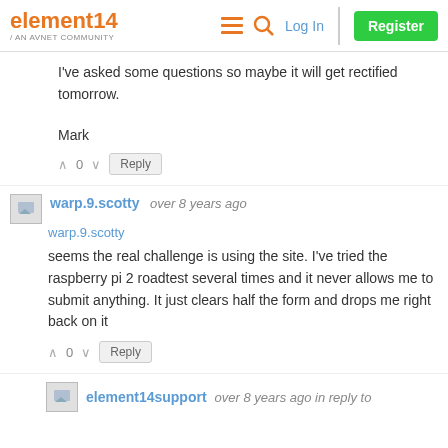element14 / AN AVNET COMMUNITY | Log In | Register
I've asked some questions so maybe it will get rectified tomorrow.
Mark
warp.9.scotty  over 8 years ago
warp.9.scotty
seems the real challenge is using the site. I've tried the raspberry pi 2 roadtest several times and it never allows me to submit anything. It just clears half the form and drops me right back on it
element14support  over 8 years ago in reply to